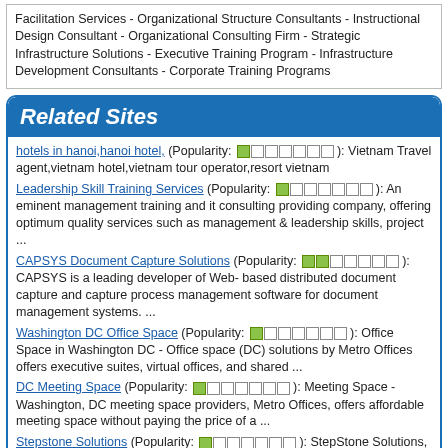Facilitation Services - Organizational Structure Consultants - Instructional Design Consultant - Organizational Consulting Firm - Strategic Infrastructure Solutions - Executive Training Program - Infrastructure Development Consultants - Corporate Training Programs
Related Sites
hotels in hanoi,hanoi hotel, (Popularity: [bar]): Vietnam Travel agent,vietnam hotel,vietnam tour operator,resort vietnam
Leadership Skill Training Services (Popularity: [bar]): An eminent management training and it consulting providing company, offering optimum quality services such as management & leadership skills, project ...
CAPSYS Document Capture Solutions (Popularity: [bar]): CAPSYS is a leading developer of Web- based distributed document capture and capture process management software for document management systems. ...
Washington DC Office Space (Popularity: [bar]): Office Space in Washington DC - Office space (DC) solutions by Metro Offices offers executive suites, virtual offices, and shared ...
DC Meeting Space (Popularity: [bar]): Meeting Space - Washington, DC meeting space providers, Metro Offices, offers affordable meeting space without paying the price of a ...
Stepstone Solutions (Popularity: [bar]): StepStone Solutions, a global leader in Total Talent Management solutions helps businesses get increased performance from their people, helps them ...
Event Management Ireland (Popularity: [bar]): Davis Event Consultancy is an award winning event management company based in Ireland. We help you to communicate directly with ...
Abacus Valuers Ltd - Stocktaking Services (Popularity: [bar]): Abacus Valuers were established in 1988 and we offer a comprehensive range of highly professional stocktaking and stock auditing services ...
Stractive - Business Intelligence (Popularity: [bar]): Stractive Consulting